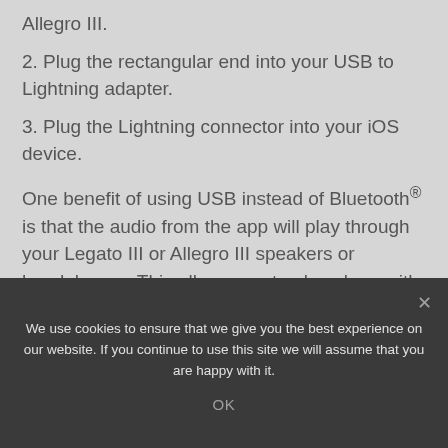Allegro III.
2. Plug the rectangular end into your USB to Lightning adapter.
3. Plug the Lightning connector into your iOS device.
One benefit of using USB instead of Bluetooth® is that the audio from the app will play through your Legato III or Allegro III speakers or headphones. This allows you to play along with the drum
We use cookies to ensure that we give you the best experience on our website. If you continue to use this site we will assume that you are happy with it.
OK